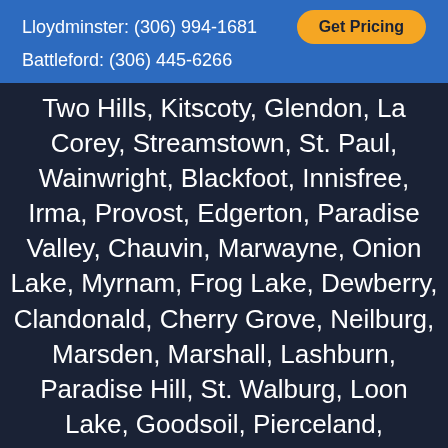Lloydminster: (306) 994-1681
Get Pricing
Battleford: (306) 445-6266
Two Hills, Kitscoty, Glendon, La Corey, Streamstown, St. Paul, Wainwright, Blackfoot, Innisfree, Irma, Provost, Edgerton, Paradise Valley, Chauvin, Marwayne, Onion Lake, Myrnam, Frog Lake, Dewberry, Clandonald, Cherry Grove, Neilburg, Marsden, Marshall, Lashburn, Paradise Hill, St. Walburg, Loon Lake, Goodsoil, Pierceland, Hillmond, Lone Rock, North Battleford, Battleford, Landis, Unity, Marsden, Meota, Edam, Wilkie, Raddison, Hafford, Meadow Lake, Glaslyn, Spiritwood, Livelong, Big River, Buffalo